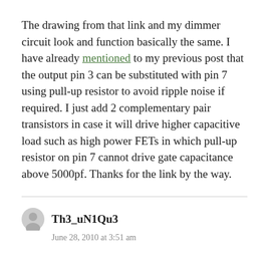The drawing from that link and my dimmer circuit look and function basically the same. I have already mentioned to my previous post that the output pin 3 can be substituted with pin 7 using pull-up resistor to avoid ripple noise if required. I just add 2 complementary pair transistors in case it will drive higher capacitive load such as high power FETs in which pull-up resistor on pin 7 cannot drive gate capacitance above 5000pf. Thanks for the link by the way.
Th3_uN1Qu3
June 28, 2010 at 3:51 am